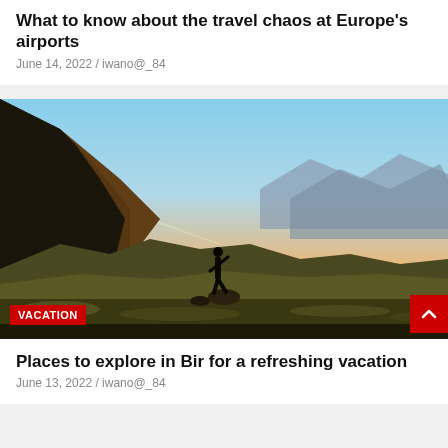What to know about the travel chaos at Europe's airports
June 14, 2022 / iwano@_84
[Figure (photo): Silhouette of a person standing on a rock in a mountainous landscape at sunset with golden light and blue sky]
Places to explore in Bir for a refreshing vacation
June 13, 2022 / iwano@_84